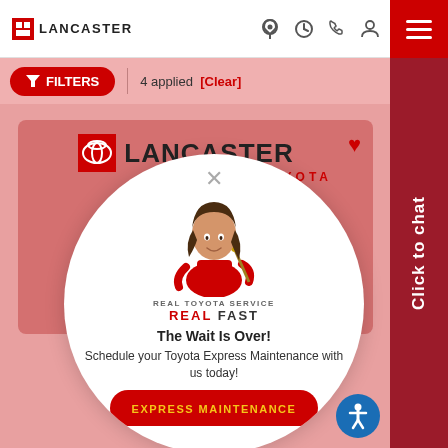[Figure (screenshot): Lancaster Toyota dealership website screenshot showing a mobile browser interface with a filter bar, a chat sidebar, a dealer card, and a popup modal advertising Toyota Express Maintenance service.]
LANCASTER
FILTERS  4 applied  [Clear]
Click to chat
LANCASTER TOYOTA
REAL TOYOTA SERVICE
REAL FAST
The Wait Is Over!
Schedule your Toyota Express Maintenance with us today!
EXPRESS MAINTENANCE